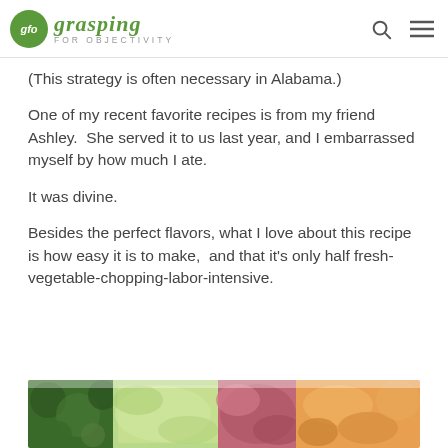grasping FOR OBJECTIVITY
(This strategy is often necessary in Alabama.)
One of my recent favorite recipes is from my friend Ashley.  She served it to us last year, and I embarrassed myself by how much I ate.
It was divine.
Besides the perfect flavors, what I love about this recipe is how easy it is to make,  and that it’s only half fresh-vegetable-chopping-labor-intensive.
[Figure (photo): Close-up photo of chopped fresh vegetables including green herbs, pale green celery or cucumber, red onion, and orange/yellow pasta or peppers]